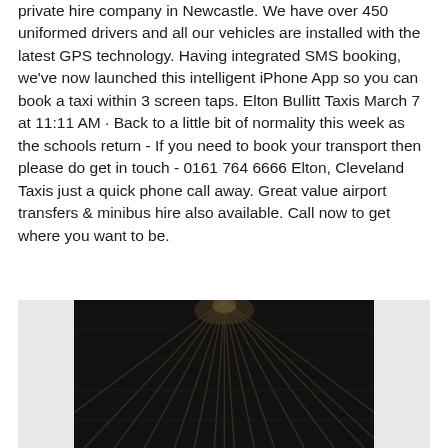private hire company in Newcastle. We have over 450 uniformed drivers and all our vehicles are installed with the latest GPS technology. Having integrated SMS booking, we've now launched this intelligent iPhone App so you can book a taxi within 3 screen taps. Elton Bullitt Taxis March 7 at 11:11 AM · Back to a little bit of normality this week as the schools return - If you need to book your transport then please do get in touch - 0161 764 6666 Elton, Cleveland Taxis just a quick phone call away. Great value airport transfers & minibus hire also available. Call now to get where you want to be.
[Figure (photo): Dark photograph showing what appears to be a structural overhead view with radiating lines, rendered in black and white/sepia tones, displayed on a light grey background.]